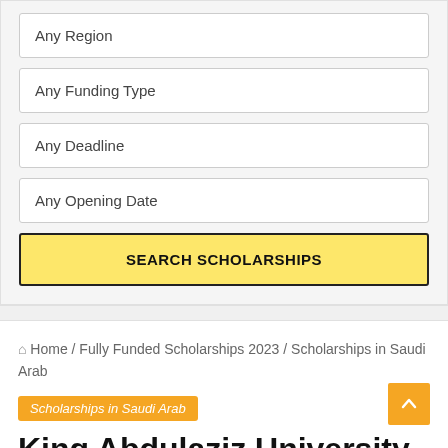Any Region
Any Funding Type
Any Deadline
Any Opening Date
SEARCH SCHOLARSHIPS
Home / Fully Funded Scholarships 2023 / Scholarships in Saudi Arab
Scholarships in Saudi Arab
King Abdulaziz University